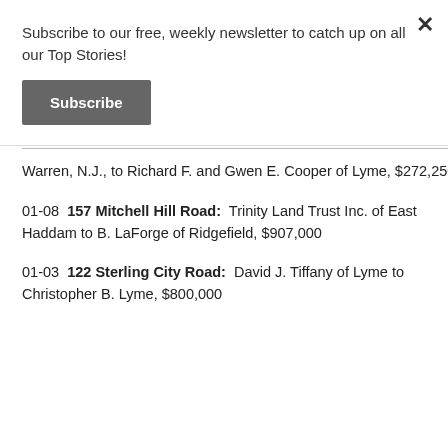Subscribe to our free, weekly newsletter to catch up on all our Top Stories!
Subscribe
Warren, N.J., to Richard F. and Gwen E. Cooper of Lyme, $272,250
01-08  157 Mitchell Hill Road:  Trinity Land Trust Inc. of East Haddam to B. LaForge of Ridgefield, $907,000
01-03  122 Sterling City Road:  David J. Tiffany of Lyme to Christopher B. Lyme, $800,000